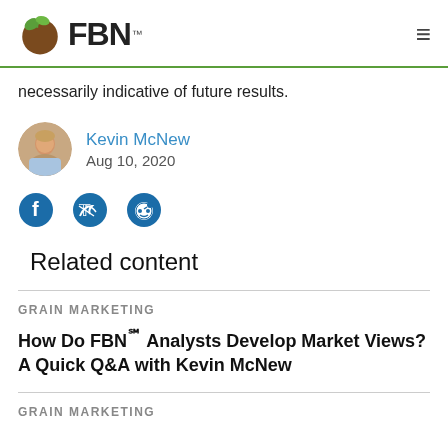FBN
necessarily indicative of future results.
Kevin McNew
Aug 10, 2020
[Figure (illustration): Social share icons: Facebook, Twitter, Reddit]
Related content
GRAIN MARKETING
How Do FBN℠ Analysts Develop Market Views? A Quick Q&A with Kevin McNew
GRAIN MARKETING